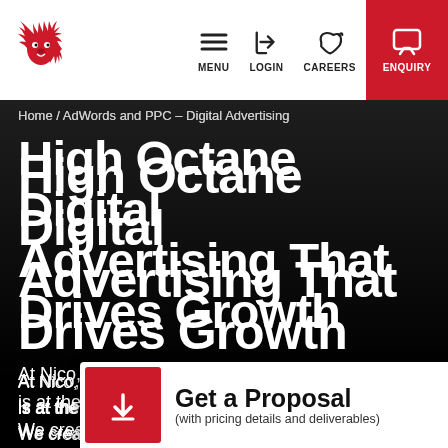[Figure (logo): Red lion logo icon on white background, top left of navigation bar]
MENU  LOGIN  CAREERS  ENQUIRY
Home / AdWords and PPC – Digital Advertising
High Octane Digital Advertising That Drives Growth
At Nico, we believe that digital advertising is at the heart of your marketing strategy. We create performance-based digital advertising
[Figure (infographic): Get a Proposal CTA button with red download icon on left and text 'Get a Proposal (with pricing details and deliverables)' on white background]